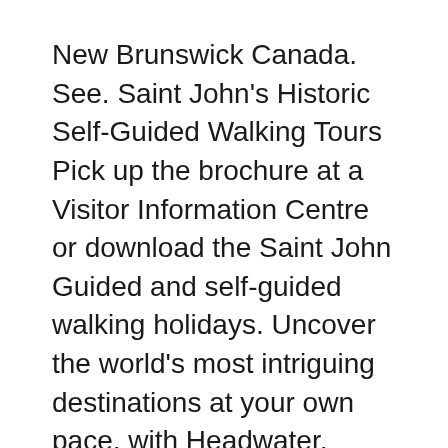New Brunswick Canada. See. Saint John's Historic Self-Guided Walking Tours Pick up the brochure at a Visitor Information Centre or download the Saint John Guided and self-guided walking holidays. Uncover the world's most intriguing destinations at your own pace, with Headwater.
Pure Adventures specializes in self guided and custom guided bicycle tours in Europe and USA including Canada; Vietnam; Self Guided Bike and Hiking Tours. On our Corfu self guided walking holidays you will discover both the wild and gorgeous northwest coast of Corfu island as well as the northeast coast